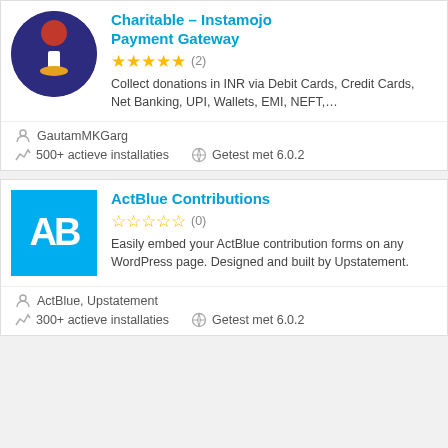Charitable – Instamojo Payment Gateway
★★★★★ (2)
Collect donations in INR via Debit Cards, Credit Cards, Net Banking, UPI, Wallets, EMI, NEFT,…
GautamMKGarg
500+ actieve installaties   Getest met 6.0.2
ActBlue Contributions
☆☆☆☆☆ (0)
Easily embed your ActBlue contribution forms on any WordPress page. Designed and built by Upstatement.
ActBlue, Upstatement
300+ actieve installaties   Getest met 6.0.2